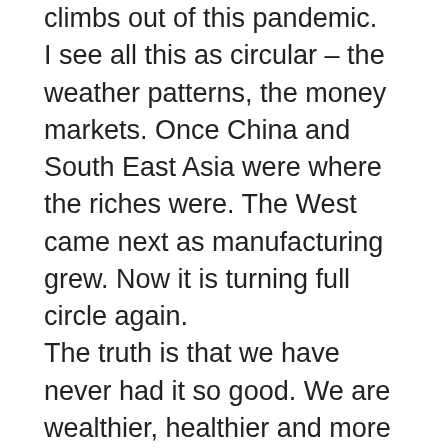climbs out of this pandemic. I see all this as circular – the weather patterns, the money markets. Once China and South East Asia were where the riches were. The West came next as manufacturing grew. Now it is turning full circle again. The truth is that we have never had it so good. We are wealthier, healthier and more asset rich than any previous generation. We are better educated and have more options in where we live and work; we take more holidays and our lifestyle has improved tremendously. Taking all this into account, why then are we not happy with our lo...